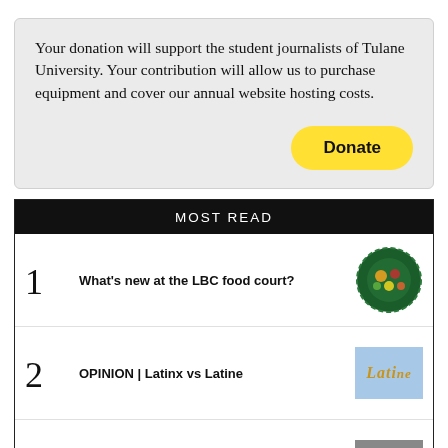Your donation will support the student journalists of Tulane University. Your contribution will allow us to purchase equipment and cover our annual website hosting costs.
MOST READ
1 What's new at the LBC food court?
2 OPINION | Latinx vs Latine
3 'Like walking on glass': Anxious post-Roe era for Tulane's Medical School